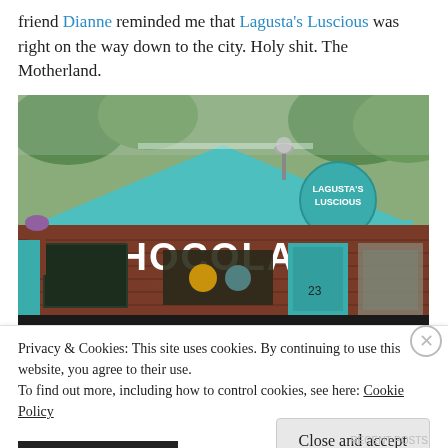friend Dianne reminded me that Lagusta's Luscious was right on the way down to the city. Holy shit. The Motherland.
[Figure (photo): Exterior photo of Lagusta's Luscious chocolate shop: a brick building with a teal/turquoise triangular gable facade, large sign reading 'CHOCOLATE', round teal sign with 'LAGUSTA'S LUSCIOUS', storefront windows, and trees in background.]
Privacy & Cookies: This site uses cookies. By continuing to use this website, you agree to their use.
To find out more, including how to control cookies, see here: Cookie Policy
Close and accept